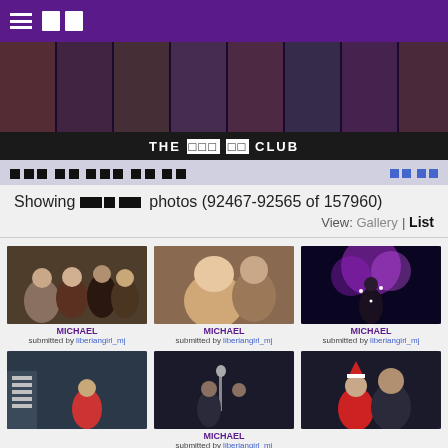≡ □□ [navigation bar]
[Figure (photo): Banner strip of multiple Michael Jackson photos at various ages and costumes]
THE □□□ □□ CLUB
□□□ □□ □□□ □□ □□    □□ □□
Showing □□□ □□ photos (92467-92565 of 157960)
View: Gallery | List
[Figure (photo): MICHAEL - group photo with fans, submitted by liberiangirl_mj]
[Figure (photo): MICHAEL - photo with smiling woman, submitted by liberiangirl_mj]
[Figure (photo): MICHAEL - stage performance with purple lights, submitted by liberiangirl_mj]
[Figure (photo): Photo in record store]
[Figure (photo): MICHAEL - stage performance, submitted by liberiangirl_mj]
[Figure (photo): Photo with person in Santa hat]